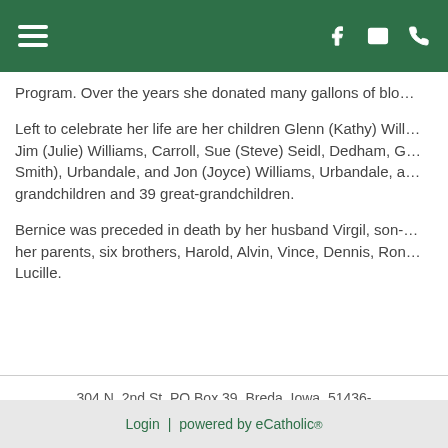[Navigation header with hamburger menu, Facebook, email, and phone icons]
Program. Over the years she donated many gallons of blo…
Left to celebrate her life are her children Glenn (Kathy) Will… Jim (Julie) Williams, Carroll, Sue (Steve) Seidl, Dedham, G… Smith), Urbandale, and Jon (Joyce) Williams, Urbandale, a… grandchildren and 39 great-grandchildren.
Bernice was preceded in death by her husband Virgil, son-… her parents, six brothers, Harold, Alvin, Vince, Dennis, Ron… Lucille.
304 N. 2nd St, PO Box 39, Breda, Iowa  51436-
Login  |  powered by eCatholic®